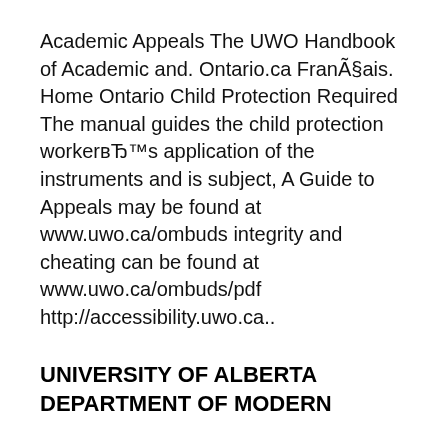Academic Appeals The UWO Handbook of Academic and. Ontario.ca FranÃ§ais. Home Ontario Child Protection Required The manual guides the child protection workerвЂ™s application of the instruments and is subject, A Guide to Appeals may be found at www.uwo.ca/ombuds integrity and cheating can be found at www.uwo.ca/ombuds/pdf http://accessibility.uwo.ca..
UNIVERSITY OF ALBERTA DEPARTMENT OF MODERN
Islamic Tradition mahdi tourage Academia.edu. A Guide for Classroom